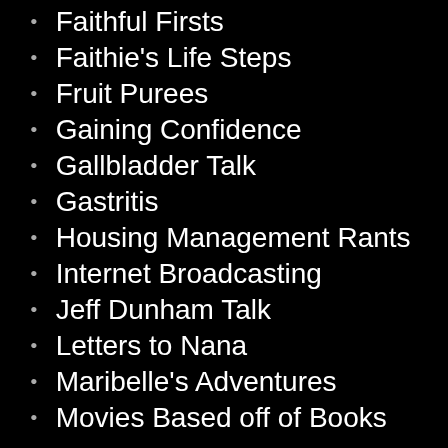Faithful Firsts
Faithie's Life Steps
Fruit Purees
Gaining Confidence
Gallbladder Talk
Gastritis
Housing Management Rants
Internet Broadcasting
Jeff Dunham Talk
Letters to Nana
Maribelle's Adventures
Movies Based off of Books